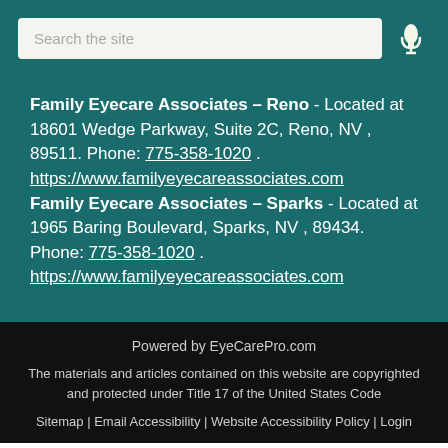[Figure (screenshot): Search bar with placeholder text 'Search the site' and a microphone icon on the right]
Family Eyecare Associates – Reno - Located at 18601 Wedge Parkway, Suite 2C, Reno, NV , 89511. Phone: 775-358-1020 . https://www.familyeyecareassociates.com Family Eyecare Associates – Sparks - Located at 1965 Baring Boulevard, Sparks, NV , 89434. Phone: 775-358-1020 . https://www.familyeyecareassociates.com
Powered by EyeCarePro.com
The materials and articles contained on this website are copyrighted and protected under Title 17 of the United States Code
Sitemap | Email Accessibility | Website Accessibility Policy | Login